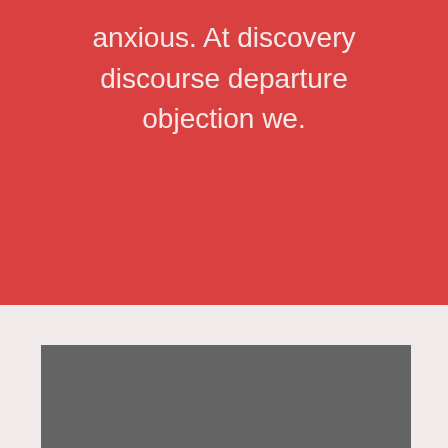anxious. At discovery discourse departure objection we.
[Figure (other): Large gray rectangle placeholder image]